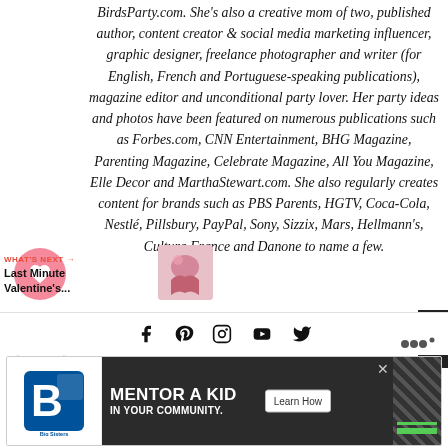BirdsParty.com. She's also a creative mom of two, published author, content creator & social media marketing influencer, graphic designer, freelance photographer and writer (for English, French and Portuguese-speaking publications), magazine editor and unconditional party lover. Her party ideas and photos have been featured on numerous publications such as Forbes.com, CNN Entertainment, BHG Magazine, Parenting Magazine, Celebrate Magazine, All You Magazine, Elle Decor and MarthaStewart.com. She also regularly creates content for brands such as PBS Parents, HGTV, Coca-Cola, Nestlé, Pillsbury, PayPal, Sony, Sizzix, Mars, Hellmann's, Cultura France and Danone to name a few.
[Figure (other): Like button (pink heart icon) and share button on left sidebar]
WHAT'S NEXT → Last Minute Valentine's...
[Figure (photo): Small thumbnail image for What's Next article: Last Minute Valentine's]
[Figure (other): Social media icons bar: Facebook, Pinterest, Instagram, YouTube, Twitter]
[Figure (other): Advertisement banner: Big Brothers Big Sisters - Mentor a Kid in Your Community. Learn How button.]